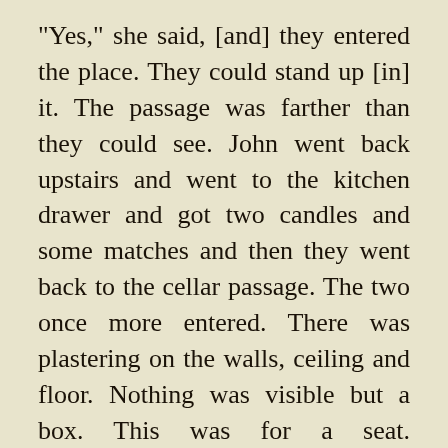"Yes," she said, [and] they entered the place. They could stand up [in] it. The passage was farther than they could see. John went back upstairs and went to the kitchen drawer and got two candles and some matches and then they went back to the cellar passage. The two once more entered. There was plastering on the walls, ceiling and floor. Nothing was visible but a box. This was for a seat. Nevertheless they examined it and found it to contain nothing. They walked on farther and pretty soon the plastering left off and they were in a cave. Little Alice was [continued...]